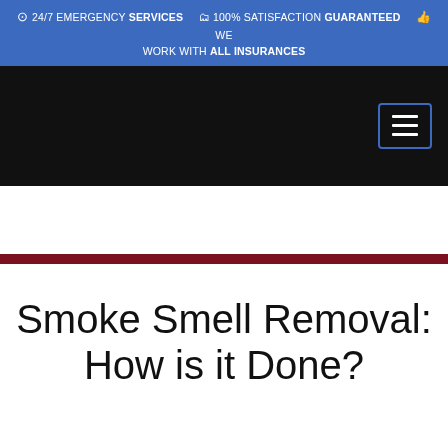24/7 EMERGENCY SERVICES  |  100% SATISFACTION GUARANTEED  |  WE WORK WITH ALL INSURANCES
[Figure (screenshot): Black navigation bar with hamburger menu icon (three horizontal lines) in a blue-bordered rectangle on the right side]
Smoke Smell Removal: How is it Done?